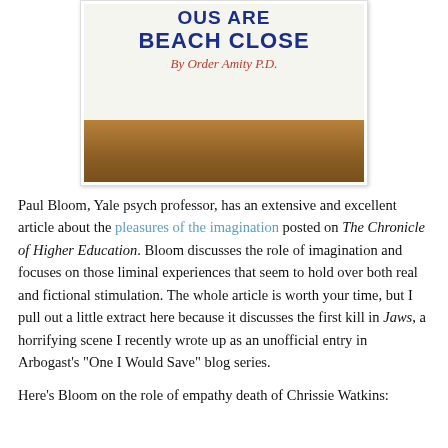[Figure (photo): Photo of a white sign with bold blue text reading 'BEACH CLOSED' and cursive red text 'By Order Amity P.D.' partially visible, resting on a wooden surface.]
Paul Bloom, Yale psych professor, has an extensive and excellent article about the pleasures of the imagination posted on The Chronicle of Higher Education. Bloom discusses the role of imagination and focuses on those liminal experiences that seem to hold over both real and fictional stimulation. The whole article is worth your time, but I pull out a little extract here because it discusses the first kill in Jaws, a horrifying scene I recently wrote up as an unofficial entry in Arbogast's "One I Would Save" blog series.
Here's Bloom on the role of empathy death of Chrissie Watkins: